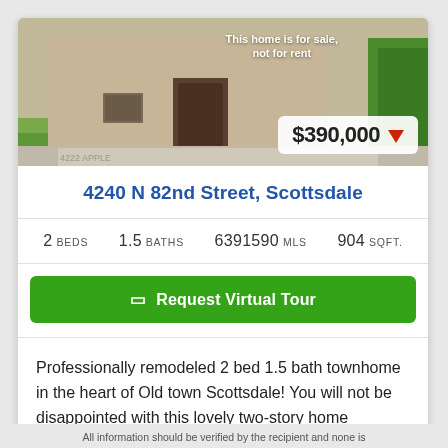[Figure (photo): Exterior photo of a stucco townhome with tan/beige walls and a dark door, with greenery visible on sides. Overlay text reads 'This home is for sale, not for rent' and a price badge showing $390,000 with a red down arrow.]
4240 N 82nd Street, Scottsdale
2 BEDS   1.5 BATHS   6391590 MLS   904 SQFT.
Request Virtual Tour
Professionally remodeled 2 bed 1.5 bath townhome in the heart of Old town Scottsdale! You will not be disappointed with this lovely two-story home featuring a brand new k...
All information should be verified by the recipient and none is